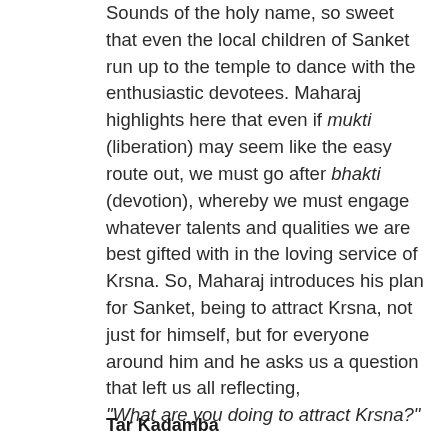Sounds of the holy name, so sweet that even the local children of Sanket run up to the temple to dance with the enthusiastic devotees. Maharaj highlights here that even if mukti (liberation) may seem like the easy route out, we must go after bhakti (devotion), whereby we must engage whatever talents and qualities we are best gifted with in the loving service of Krsna. So, Maharaj introduces his plan for Sanket, being to attract Krsna, not just for himself, but for everyone around him and he asks us a question that left us all reflecting, "What are you doing to attract Krsna?"
Tar Kadamba